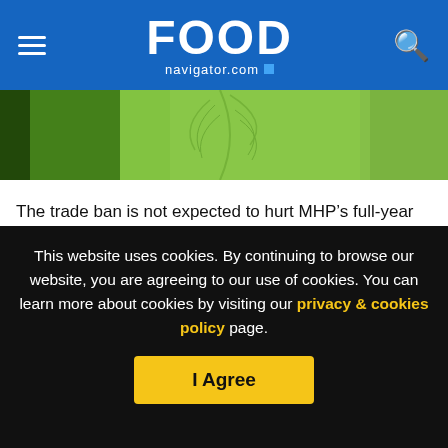FOOD navigator.com
[Figure (photo): Close-up photo of a green leaf]
The trade ban is not expected to hurt MHP’s full-year earnings, scheduled for publication in March this year. This is because MHP expects to have mitigated the worst of the trade ban’s impact, thanks to a highly diversified poultry export operation, with burgeoning volumes shipped to the Middle East and North Africa.
‘Ready’ for trade
This website uses cookies. By continuing to browse our website, you are agreeing to our use of cookies. You can learn more about cookies by visiting our privacy & cookies policy page.